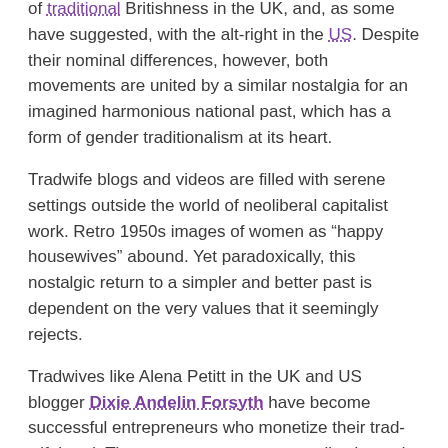of traditional Britishness in the UK, and, as some have suggested, with the alt-right in the US. Despite their nominal differences, however, both movements are united by a similar nostalgia for an imagined harmonious national past, which has a form of gender traditionalism at its heart.
Tradwife blogs and videos are filled with serene settings outside the world of neoliberal capitalist work. Retro 1950s images of women as "happy housewives" abound. Yet paradoxically, this nostalgic return to a simpler and better past is dependent on the very values that it seemingly rejects.
Tradwives like Alena Petitt in the UK and US blogger Dixie Andelin Forsyth have become successful entrepreneurs who monetize their trad-wifehood. The movement, more generally, depends on savvy entrepreneurial women like these, who, through their social media activities, classes, courses, advice books, and products, advocate and popularise trad-wifehood as a desirable choice and identity.